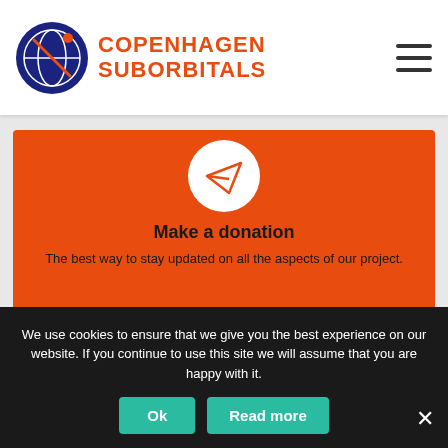[Figure (logo): Copenhagen Suborbitals logo with circular emblem and orange text]
[Figure (illustration): Orange card with white circle icon containing a paper plane/send icon, titled Make a donation]
Make a donation
The best way to stay updated on all the aspects of our project.
[Figure (illustration): Orange card with white circle icon containing a rocket icon]
We use cookies to ensure that we give you the best experience on our website. If you continue to use this site we will assume that you are happy with it.